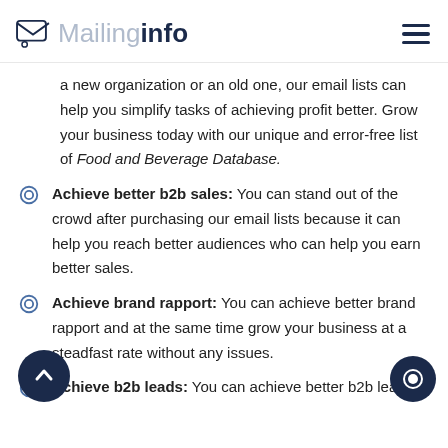Mailinginfo
a new organization or an old one, our email lists can help you simplify tasks of achieving profit better. Grow your business today with our unique and error-free list of Food and Beverage Database.
Achieve better b2b sales: You can stand out of the crowd after purchasing our email lists because it can help you reach better audiences who can help you earn better sales.
Achieve brand rapport: You can achieve better brand rapport and at the same time grow your business at a steadfast rate without any issues.
Achieve b2b leads: You can achieve better b2b leads and competitive tips which can easily convert and grow